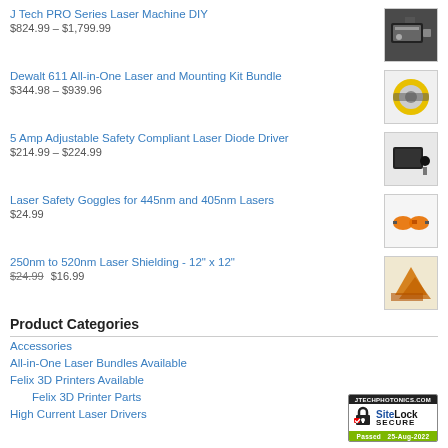J Tech PRO Series Laser Machine DIY
$824.99 – $1,799.99
Dewalt 611 All-in-One Laser and Mounting Kit Bundle
$344.98 – $939.96
5 Amp Adjustable Safety Compliant Laser Diode Driver
$214.99 – $224.99
Laser Safety Goggles for 445nm and 405nm Lasers
$24.99
250nm to 520nm Laser Shielding - 12" x 12"
$24.99 $16.99
Product Categories
Accessories
All-in-One Laser Bundles Available
Felix 3D Printers Available
Felix 3D Printer Parts
High Current Laser Drivers
[Figure (logo): SiteLock Secure badge - JTECHPHOTONICS.COM, Passed 25-Aug-2022]